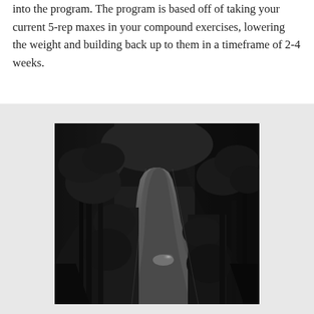into the program. The program is based off of taking your current 5-rep maxes in your compound exercises, lowering the weight and building back up to them in a timeframe of 2-4 weeks.
[Figure (photo): Black and white photograph of a winding road through dense trees and forest, with light reflecting off the road surface in the distance.]